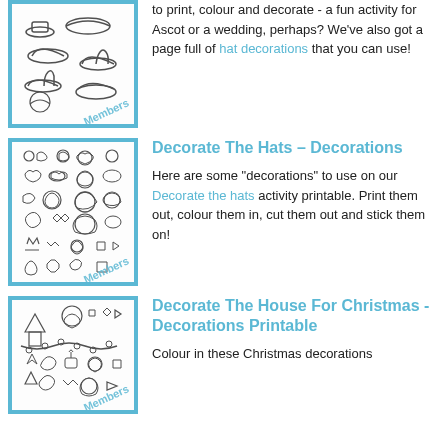[Figure (illustration): Sketch of various hat styles with Members watermark, inside teal border]
to print, colour and decorate - a fun activity for Ascot or a wedding, perhaps? We've also got a page full of hat decorations that you can use!
[Figure (illustration): Sketch of various hat decorations (flowers, feathers, bows etc.) with Members watermark, inside teal border]
Decorate The Hats – Decorations
Here are some "decorations" to use on our Decorate the hats activity printable. Print them out, colour them in, cut them out and stick them on!
[Figure (illustration): Sketch of Christmas house decorations including trees, garlands, baubles, with Members watermark, inside teal border]
Decorate The House For Christmas - Decorations Printable
Colour in these Christmas decorations